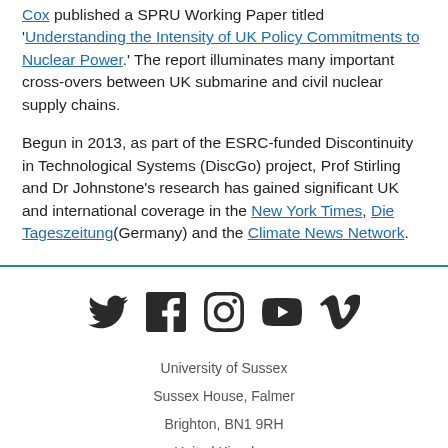Cox published a SPRU Working Paper titled 'Understanding the Intensity of UK Policy Commitments to Nuclear Power.' The report illuminates many important cross-overs between UK submarine and civil nuclear supply chains.
Begun in 2013, as part of the ESRC-funded Discontinuity in Technological Systems (DiscGo) project, Prof Stirling and Dr Johnstone's research has gained significant UK and international coverage in the New York Times, Die Tageszeitung(Germany) and the Climate News Network.
[Figure (infographic): Social media icons: Twitter, Facebook, Instagram, YouTube, Vimeo]
University of Sussex
Sussex House, Falmer
Brighton, BN1 9RH
United Kingdom